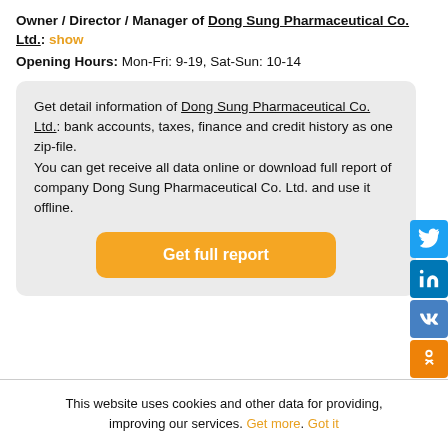Owner / Director / Manager of Dong Sung Pharmaceutical Co. Ltd.: show
Opening Hours: Mon-Fri: 9-19, Sat-Sun: 10-14
Get detail information of Dong Sung Pharmaceutical Co. Ltd.: bank accounts, taxes, finance and credit history as one zip-file.
You can get receive all data online or download full report of company Dong Sung Pharmaceutical Co. Ltd. and use it offline.
Get full report
[Figure (infographic): Social media share buttons: Twitter, LinkedIn, VK, Odnoklassniki, Telegram, Tumblr]
This website uses cookies and other data for providing, improving our services. Get more. Got it